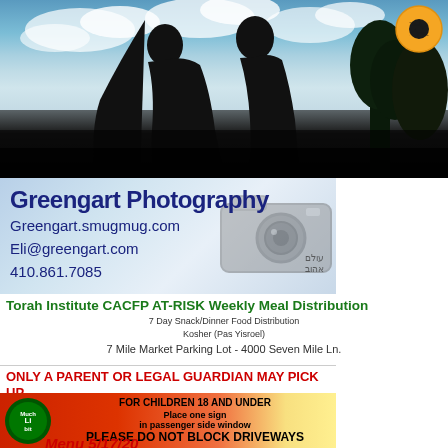[Figure (photo): Wedding silhouette photo of bride and groom facing each other against a cloudy sky background with trees. An orange camera aperture logo is in the top right corner.]
[Figure (photo): Greengart Photography advertisement banner with camera background image showing company name, website, email, and phone number.]
Greengart Photography
Greengart.smugmug.com
Eli@greengart.com
410.861.7085
Torah Institute CACFP AT-RISK Weekly Meal Distribution
7 Day Snack/Dinner Food Distribution
Kosher (Pas Yisroel)
7 Mile Market Parking Lot - 4000 Seven Mile Ln.
ONLY A PARENT OR LEGAL GUARDIAN MAY PICK UP
[Figure (infographic): Colorful banner with green badge logo on left, text FOR CHILDREN 18 AND UNDER, Place one sign in passenger side window, PLEASE DO NOT BLOCK DRIVEWAYS, and Menu text at bottom in red italic.]